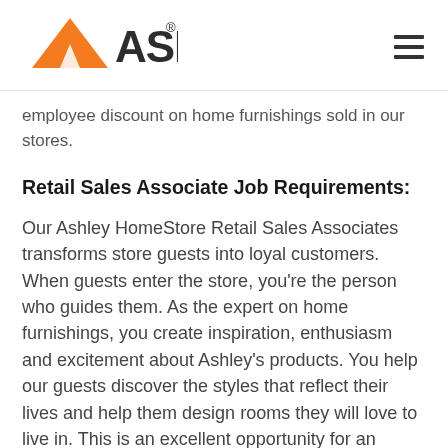[Figure (logo): Ashley Furniture HomeStore logo with orange triangle/mountain icon and ASHLEY text in dark grey]
employee discount on home furnishings sold in our stores.
Retail Sales Associate Job Requirements:
Our Ashley HomeStore Retail Sales Associates transforms store guests into loyal customers. When guests enter the store, you're the person who guides them. As the expert on home furnishings, you create inspiration, enthusiasm and excitement about Ashley's products. You help our guests discover the styles that reflect their lives and help them design rooms they will love to live in. This is an excellent opportunity for an entrepreneurial, focused, and ambitious sales professional who has a passion for lifestyle retail